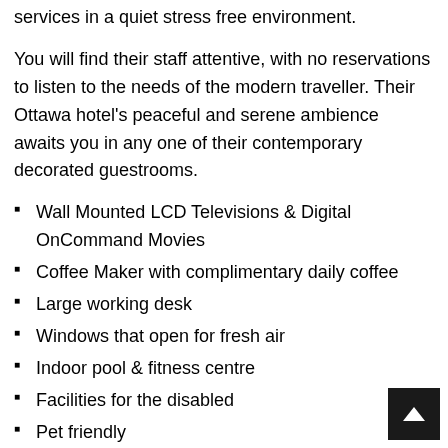services in a quiet stress free environment.
You will find their staff attentive, with no reservations to listen to the needs of the modern traveller. Their Ottawa hotel’s peaceful and serene ambience awaits you in any one of their contemporary decorated guestrooms.
Wall Mounted LCD Televisions & Digital OnCommand Movies
Coffee Maker with complimentary daily coffee
Large working desk
Windows that open for fresh air
Indoor pool & fitness centre
Facilities for the disabled
Pet friendly
Rates
Superior King / 2x Double bedded rooms at $139.00/